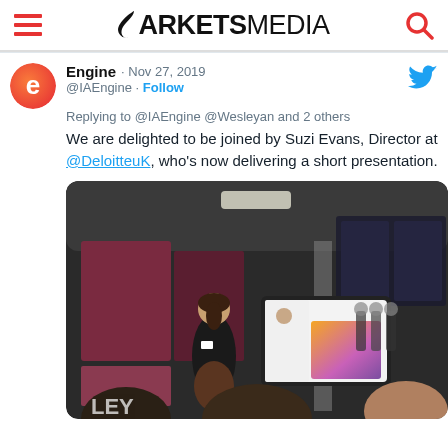MARKETS MEDIA
Engine · Nov 27, 2019
@IAEngine · Follow
Replying to @IAEngine @Wesleyan and 2 others
We are delighted to be joined by Suzi Evans, Director at @DeloitteuK, who's now delivering a short presentation.
[Figure (photo): A woman standing and presenting in a modern office event space. An audience is visible from behind in the foreground. A monitor or TV screen shows a presentation slide with an orange/purple gradient. The background features dark decor and windows.]